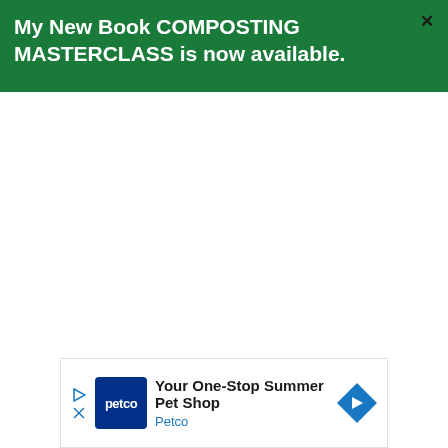My New Book COMPOSTING MASTERCLASS is now available.
[Figure (screenshot): Advertisement banner for Petco: 'Your One-Stop Summer Pet Shop' with Petco logo and navigation arrow icon]